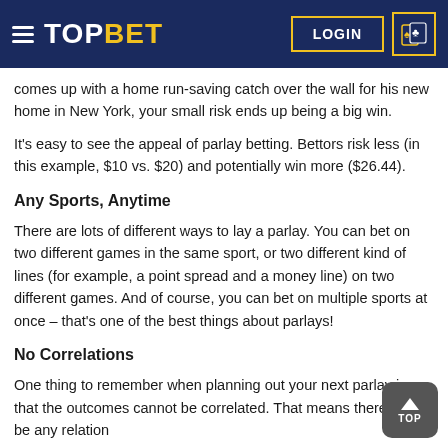TOPBET | LOGIN
comes up with a home run-saving catch over the wall for his new home in New York, your small risk ends up being a big win.
It's easy to see the appeal of parlay betting. Bettors risk less (in this example, $10 vs. $20) and potentially win more ($26.44).
Any Sports, Anytime
There are lots of different ways to lay a parlay. You can bet on two different games in the same sport, or two different kind of lines (for example, a point spread and a money line) on two different games. And of course, you can bet on multiple sports at once – that's one of the best things about parlays!
No Correlations
One thing to remember when planning out your next parlay is that the outcomes cannot be correlated. That means there can't be any relation